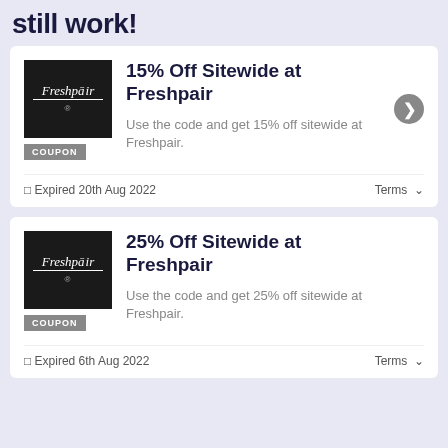still work!
15% Off Sitewide at Freshpair
Use the code and get 15% off sitewide at Freshpair.
Expired 20th Aug 2022
25% Off Sitewide at Freshpair
Use the code and get 25% off sitewide at Freshpair.
Expired 6th Aug 2022